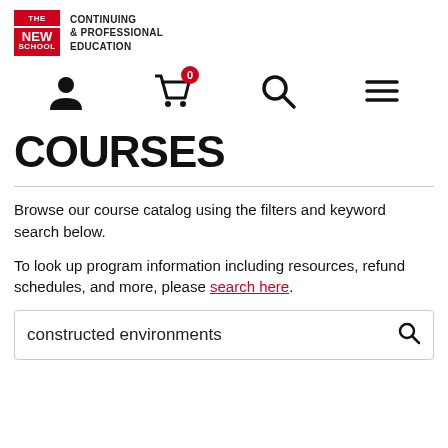THE NEW SCHOOL CONTINUING & PROFESSIONAL EDUCATION
COURSES
Browse our course catalog using the filters and keyword search below.
To look up program information including resources, refund schedules, and more, please search here.
constructed environments